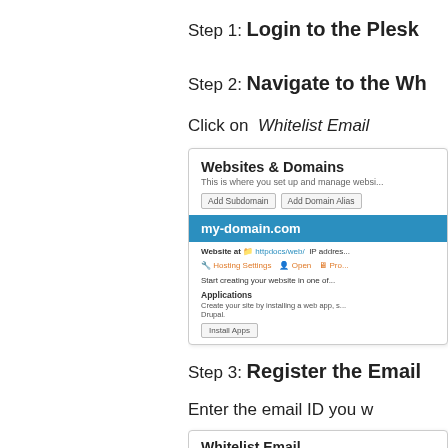Step 1: Login to the Plesk
Step 2: Navigate to the WH
Click on Whitelist Email
[Figure (screenshot): Screenshot of Plesk Websites & Domains panel showing my-domain.com with Add Subdomain, Add Domain Alias buttons and Applications section with Install Apps button]
Step 3: Register the Email
Enter the email ID you
[Figure (screenshot): Screenshot of Whitelist Email panel with Cancel and Add buttons]